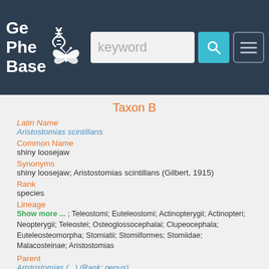GePheBase [logo] keyword [search] [menu]
Taxon B
Latin Name
Aristostomias scintillans
Common Name
shiny loosejaw
Synonyms
shiny loosejaw; Aristostomias scintillans (Gilbert, 1915)
Rank
species
Lineage
Show more ... ; Teleostomi; Euteleostomi; Actinopterygii; Actinopteri; Neopterygii; Teleostei; Osteoglossocephalai; Clupeocephala; Euteleosteomorpha; Stomiatii; Stomiiformes; Stomiidae; Malacosteinae; Aristostomias
Parent
Aristostomias (...) (Rank: genus)